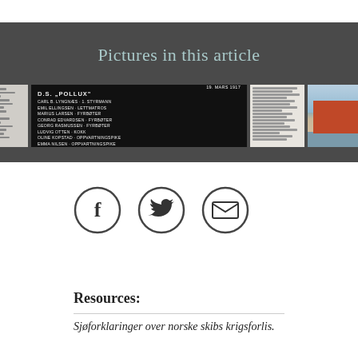Pictures in this article
[Figure (photo): Four thumbnail images: a document/list, a black memorial plaque for DS Pollux dated 19 Mars 1917 listing crew names, a newspaper clipping, and a harbor photo with a red building.]
[Figure (illustration): Social sharing icons: Facebook (f), Twitter (bird), Email (envelope) — each in a circle outline.]
Resources:
Sjøforklaringer over norske skibs krigsforlis.